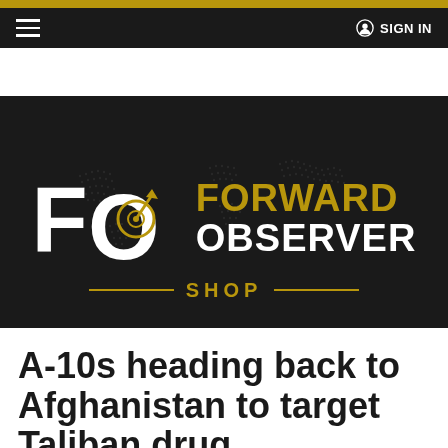≡   SIGN IN
[Figure (logo): Forward Observer Shop logo on dark background with world map. Large white 'F' and 'O' letters with a radar/target circle icon. 'FORWARD' in gold, 'OBSERVER' in white, 'SHOP' in gold below with gold horizontal lines on either side.]
A-10s heading back to Afghanistan to target Taliban drug